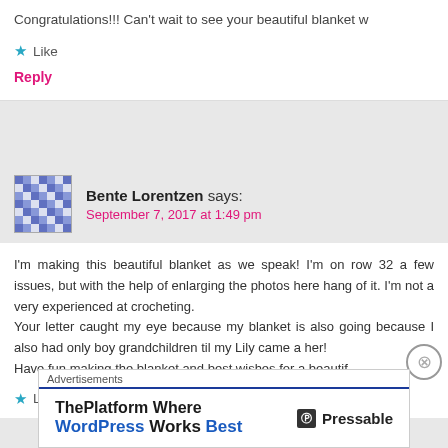Congratulations!!! Can't wait to see your beautiful blanket w
★ Like
Reply
Bente Lorentzen says:
September 7, 2017 at 1:49 pm
I'm making this beautiful blanket as we speak! I'm on row 32 a few issues, but with the help of enlarging the photos here hang of it. I'm not a very experienced at crocheting. Your letter caught my eye because my blanket is also going because I also had only boy grandchildren til my Lily came a her! Have fun making the blanket and best wishes for a beautif
★ Like
Advertisements
ThePlatform Where WordPress Works Best  Pressable